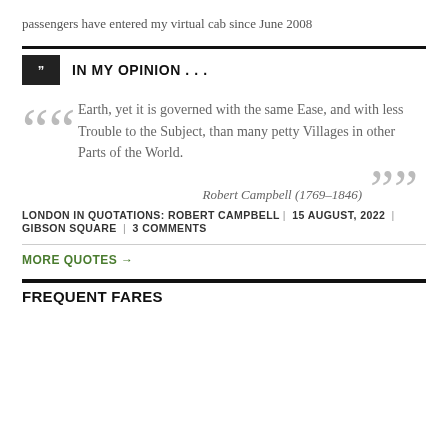passengers have entered my virtual cab since June 2008
IN MY OPINION . . .
Earth, yet it is governed with the same Ease, and with less Trouble to the Subject, than many petty Villages in other Parts of the World.
Robert Campbell (1769–1846)
LONDON IN QUOTATIONS: ROBERT CAMPBELL | 15 AUGUST, 2022 | GIBSON SQUARE | 3 COMMENTS
MORE QUOTES →
FREQUENT FARES